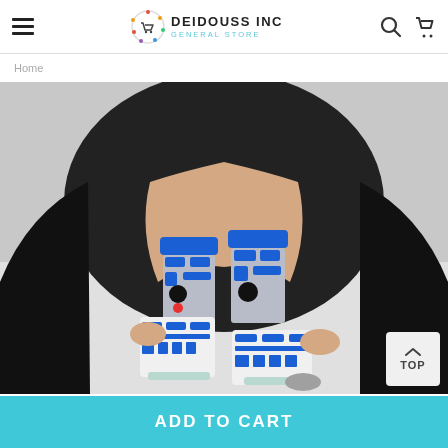DEIDOUSS INC General Store
Home
[Figure (photo): Person sitting with legs extended wearing R2-D2 themed blue, grey, and white patterned crew socks against a white background, wearing a black outfit.]
ADD TO CART